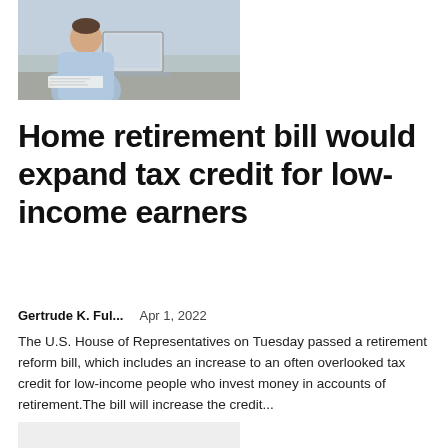[Figure (photo): Person in light blue shirt working at a laptop computer, writing on paper, at a desk in an office or home setting.]
Home retirement bill would expand tax credit for low-income earners
Gertrude K. Ful...    Apr 1, 2022
The U.S. House of Representatives on Tuesday passed a retirement reform bill, which includes an increase to an often overlooked tax credit for low-income people who invest money in accounts of retirement.The bill will increase the credit...
[Figure (photo): Partially visible photo at bottom of page, light gray/white image, content unclear.]